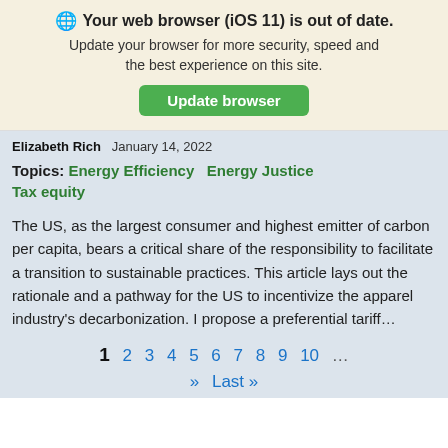🌐 Your web browser (iOS 11) is out of date. Update your browser for more security, speed and the best experience on this site. Update browser
Elizabeth Rich   January 14, 2022
Topics: Energy Efficiency   Energy Justice   Tax equity
The US, as the largest consumer and highest emitter of carbon per capita, bears a critical share of the responsibility to facilitate a transition to sustainable practices. This article lays out the rationale and a pathway for the US to incentivize the apparel industry's decarbonization. I propose a preferential tariff…
1  2  3  4  5  6  7  8  9  10  ...  »»  Last »